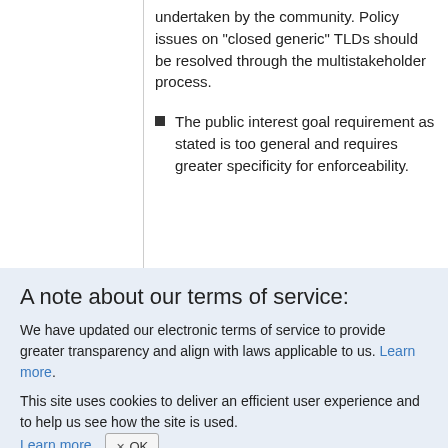undertaken by the community. Policy issues on "closed generic" TLDs should be resolved through the multistakeholder process.
The public interest goal requirement as stated is too general and requires greater specificity for enforceability.
A note about our terms of service:
We have updated our electronic terms of service to provide greater transparency and align with laws applicable to us. Learn more.
This site uses cookies to deliver an efficient user experience and to help us see how the site is used. Learn more. OK